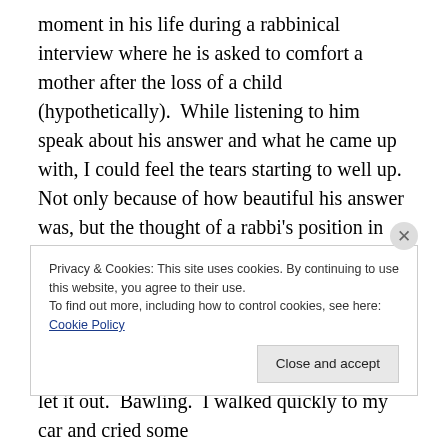moment in his life during a rabbinical interview where he is asked to comfort a mother after the loss of a child (hypothetically).  While listening to him speak about his answer and what he came up with, I could feel the tears starting to well up.  Not only because of how beautiful his answer was, but the thought of a rabbi's position in general.  What it must be like to be him and be a part of such difficult situations on a regular basis just blew me away.  He finished speaking, I packed up quickly and BOLTED out of that room.  I reached the fresh air and let it out.  Bawling.  I walked quickly to my car and cried some
Privacy & Cookies: This site uses cookies. By continuing to use this website, you agree to their use.
To find out more, including how to control cookies, see here: Cookie Policy
Close and accept